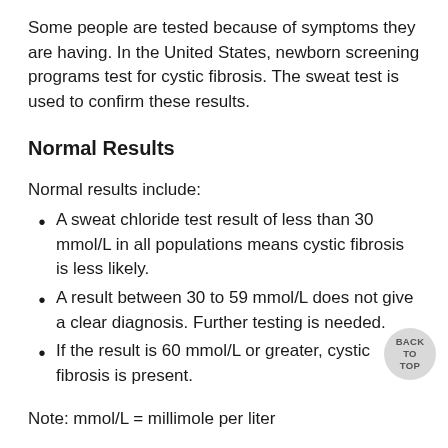Some people are tested because of symptoms they are having. In the United States, newborn screening programs test for cystic fibrosis. The sweat test is used to confirm these results.
Normal Results
Normal results include:
A sweat chloride test result of less than 30 mmol/L in all populations means cystic fibrosis is less likely.
A result between 30 to 59 mmol/L does not give a clear diagnosis. Further testing is needed.
If the result is 60 mmol/L or greater, cystic fibrosis is present.
Note: mmol/L = millimole per liter